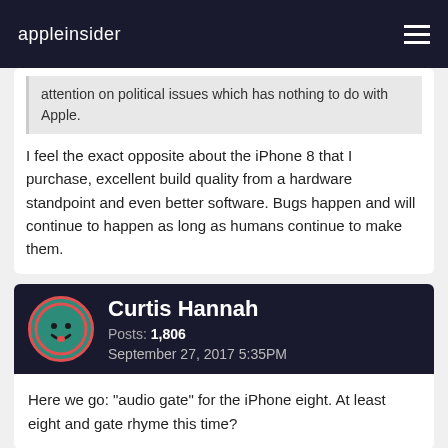appleinsider
attention on political issues which has nothing to do with Apple.
I feel the exact opposite about the iPhone 8 that I purchase, excellent build quality from a hardware standpoint and even better software. Bugs happen and will continue to happen as long as humans continue to make them.
Curtis Hannah
Posts: 1,806
September 27, 2017 5:35PM
Here we go: "audio gate" for the iPhone eight. At least eight and gate rhyme this time?
Dysamoria